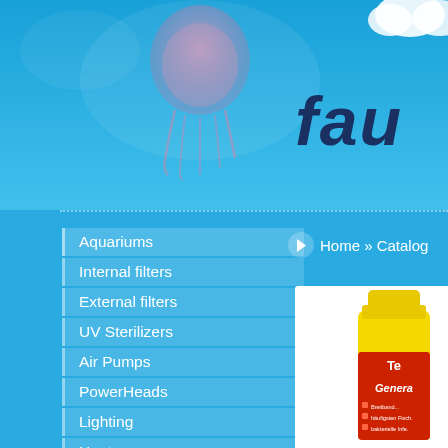[Figure (illustration): Top portion of an aquarium/pet store website with blue background, partial jellyfish image in upper center, and partial brand name 'fau...' in dark blue italic bold text at upper right]
Aquariums
Internal filters
External filters
UV Sterilizers
Air Pumps
PowerHeads
Lighting
Heaters
Fish Food
Medications
Home » Catalog
[Figure (photo): Partial product image: yellow bottle of Tetra GeneralTonic or similar aquarium medication with red label showing partial text including 'Breitbandantibiotikum', 'Pilzbefall', 'bakterielle Infektion']